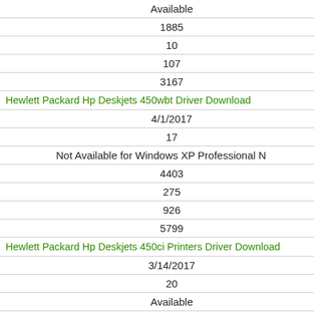| Available |
| 1885 |
| 10 |
| 107 |
| 3167 |
| Hewlett Packard Hp Deskjets 450wbt Driver Download |
| 4/1/2017 |
| 17 |
| Not Available for Windows XP Professional N |
| 4403 |
| 275 |
| 926 |
| 5799 |
| Hewlett Packard Hp Deskjets 450ci Printers Driver Download |
| 3/14/2017 |
| 20 |
| Available |
| 2614 |
| 316 |
| 433 |
| 4752 |
| Hewlett Packard Hp Deskjets 450ci Driver Download |